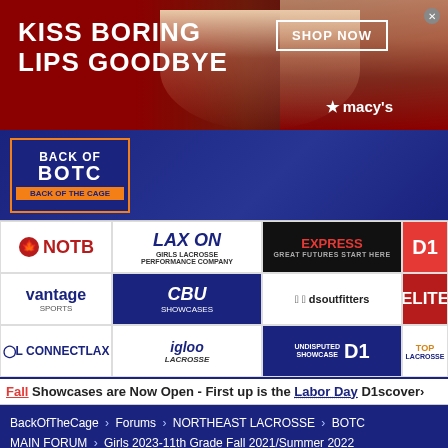[Figure (screenshot): Macy's advertisement banner: 'KISS BORING LIPS GOODBYE' with SHOP NOW button and Macy's logo on dark red background]
[Figure (logo): BackOfTheCage website header with BOTC logo and Back Of The Cage branding on dark blue background]
[Figure (screenshot): Sponsor logos grid: NOTB, LAX ON Girls Lacrosse Performance Company, Express (Great Futures Start Here), D1, Vantage Sports, CBU Showcases, dsoutfitters, ELITE, ConnectLax, Igloo Lacrosse, Undisputed D1 Showcase, Top Lacrosse]
Fall Showcases are Now Open - First up is the Labor Day D1scover
BackOfTheCage > Forums > NORTHEAST LACROSSE > BOTC MAIN FORUM > Girls 2023-11th Grade Fall 2021/Summer 2022
[Figure (screenshot): Frontgate advertisement: Outdoor Furniture | Bedding. 25% off site wide sale going on now at Frontgate.com. frontgate.com]